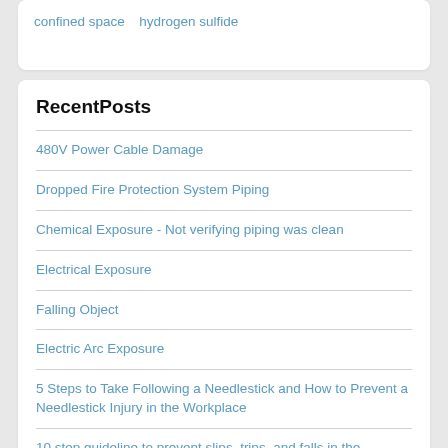confined space   hydrogen sulfide
RecentPosts
480V Power Cable Damage
Dropped Fire Protection System Piping
Chemical Exposure - Not verifying piping was clean
Electrical Exposure
Falling Object
Electric Arc Exposure
5 Steps to Take Following a Needlestick and How to Prevent a Needlestick Injury in the Workplace
10 step guideline to prevent slips, trips, and falls in the